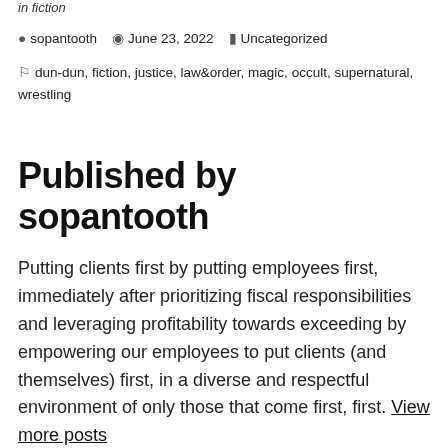in fiction
sopantooth   June 23, 2022   Uncategorized
dun-dun, fiction, justice, law&order, magic, occult, supernatural, wrestling
Published by sopantooth
Putting clients first by putting employees first, immediately after prioritizing fiscal responsibilities and leveraging profitability towards exceeding by empowering our employees to put clients (and themselves) first, in a diverse and respectful environment of only those that come first, first. View more posts